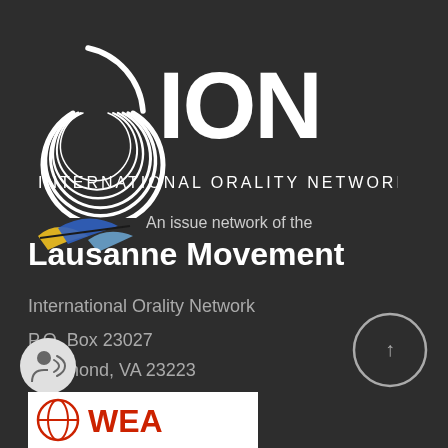[Figure (logo): ION International Orality Network logo with swirling lines graphic and large ION text, with 'INTERNATIONAL ORALITY NETWORK' text below]
[Figure (logo): Lausanne Movement logo with colorful arrow swoosh, 'An issue network of the' text and 'Lausanne Movement' bold text]
International Orality Network
P.O. Box 23027
Richmond, VA 23223
Privacy Policy
[Figure (illustration): Circular arrow up button (scroll to top) in the bottom right]
[Figure (illustration): Small circular user/speaker icon in the bottom left]
[Figure (logo): WEA logo partially visible at the bottom, white background with red globe icon and WEA letters]